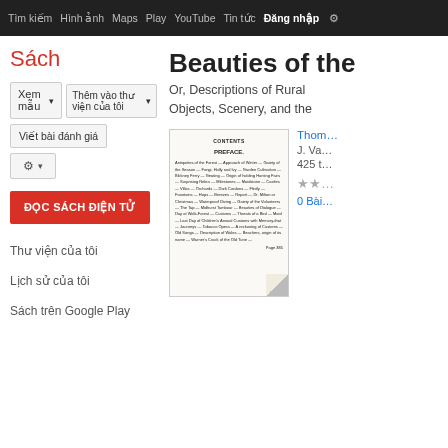Tìm kiếm  Hình ảnh  Maps  Play  YouTube  Tin tức  Đăng nhập  ⚙
Sách
Xem mẫu ▾   Thêm vào thư viện của tôi ▾   Viết bài đánh giá   ⚙ ▾
ĐỌC SÁCH ĐIỆN TỬ
Thư viện của tôi
Lịch sử của tôi
Sách trên Google Play
Beauties of the
Or, Descriptions of Rural Objects, Scenery, and the
[Figure (photo): Scanned book page showing table of contents with small text]
Thom
J. Va
425 t
★★
0 Bài